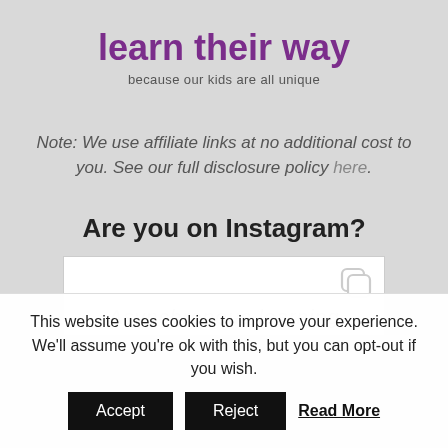learn their way
because our kids are all unique
Note: We use affiliate links at no additional cost to you. See our full disclosure policy here.
Are you on Instagram?
[Figure (screenshot): Instagram embed card showing partial text 'Asynchronous learning']
This website uses cookies to improve your experience. We'll assume you're ok with this, but you can opt-out if you wish. Accept Reject Read More